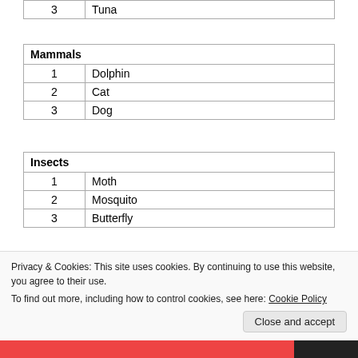| 3 | Tuna |
| Mammals |  |
| --- | --- |
| 1 | Dolphin |
| 2 | Cat |
| 3 | Dog |
| Insects |  |
| --- | --- |
| 1 | Moth |
| 2 | Mosquito |
| 3 | Butterfly |
[Figure (screenshot): Code snippet showing line 1: 'async function runSearch()' and line 2: 'await Word.run(async (' with syntax highlighting in blue for keywords]
Privacy & Cookies: This site uses cookies. By continuing to use this website, you agree to their use.
To find out more, including how to control cookies, see here: Cookie Policy